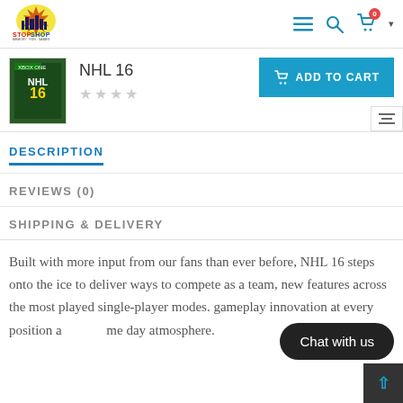[Figure (logo): Stop Shop logo with colorful city skyline graphic and tagline]
NHL 16
ADD TO CART
DESCRIPTION
REVIEWS (0)
SHIPPING & DELIVERY
Built with more input from our fans than ever before, NHL 16 steps onto the ice to deliver ways to compete as a team, new features across the most played single-player modes. gameplay innovation at every position and me day atmosphere.